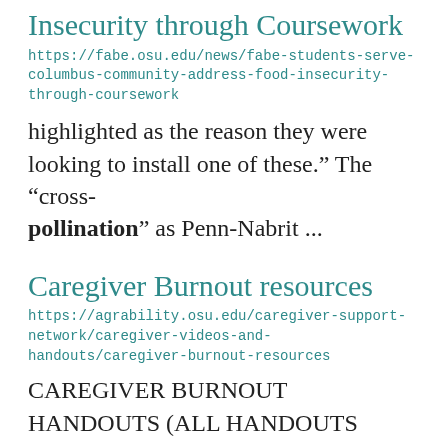Insecurity through Coursework
https://fabe.osu.edu/news/fabe-students-serve-columbus-community-address-food-insecurity-through-coursework
highlighted as the reason they were looking to install one of these.” The “cross-pollination” as Penn-Nabrit ...
Caregiver Burnout resources
https://agrability.osu.edu/caregiver-support-network/caregiver-videos-and-handouts/caregiver-burnout-resources
CAREGIVER BURNOUT HANDOUTS (ALL HANDOUTS WRITTEN BY DR, TERESA YOUNG, PHD): Caregiver Burnout Action Planning Worksheet Know your strengths and needs, Self-care tips Signs of burnout